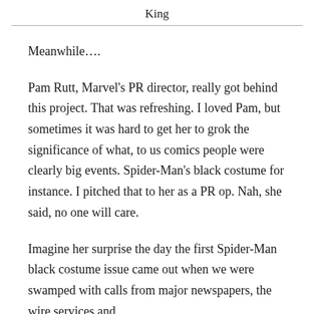King
Meanwhile….
Pam Rutt, Marvel's PR director, really got behind this project. That was refreshing. I loved Pam, but sometimes it was hard to get her to grok the significance of what, to us comics people were clearly big events. Spider-Man's black costume for instance. I pitched that to her as a PR op. Nah, she said, no one will care.
Imagine her surprise the day the first Spider-Man black costume issue came out when we were swamped with calls from major newspapers, the wire services and